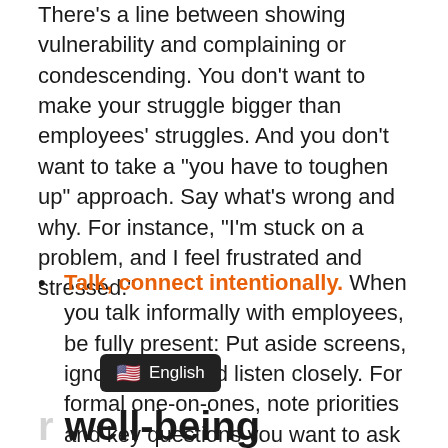There's a line between showing vulnerability and complaining or condescending. You don't want to make your struggle bigger than employees' struggles. And you don't want to take a "you have to toughen up" approach. Say what's wrong and why. For instance, "I'm stuck on a problem, and I feel frustrated and stressed."
Talk, connect intentionally. When you talk informally with employees, be fully present: Put aside screens, ignore alerts and listen closely. For formal one-on-ones, note priorities and key questions you want to ask before you meet.
English
r well-being